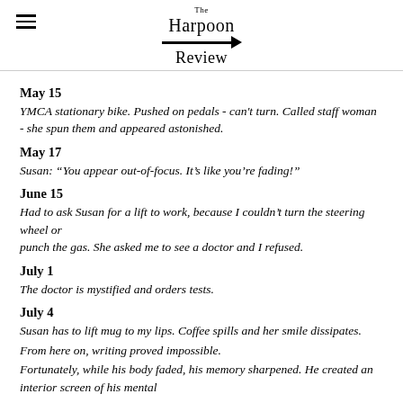The Harpoon Review
May 15
YMCA stationary bike. Pushed on pedals - can't turn. Called staff woman - she spun them and appeared astonished.
May 17
Susan: “You appear out-of-focus. It’s like you’re fading!”
June 15
Had to ask Susan for a lift to work, because I couldn’t turn the steering wheel or punch the gas. She asked me to see a doctor and I refused.
July 1
The doctor is mystified and orders tests.
July 4
Susan has to lift mug to my lips. Coffee spills and her smile dissipates.
From here on, writing proved impossible.
Fortunately, while his body faded, his memory sharpened. He created an interior screen of his mental